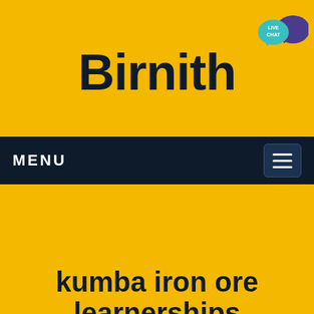Birnith
[Figure (other): Live chat icon with teal speech bubble and purple decorative bubble in top-right corner of yellow header]
MENU
[Figure (other): Hamburger menu button (three horizontal lines) in dark navy rounded rectangle]
kumba iron ore learnerships
Home  /  Our Projects
[Figure (other): Back to top arrow button in yellow square at bottom right]